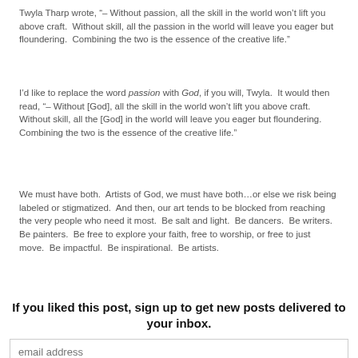Twyla Tharp wrote, "– Without passion, all the skill in the world won’t lift you above craft.  Without skill, all the passion in the world will leave you eager but floundering.  Combining the two is the essence of the creative life."
I’d like to replace the word passion with God, if you will, Twyla.  It would then read, "– Without [God], all the skill in the world won’t lift you above craft.  Without skill, all the [God] in the world will leave you eager but floundering.  Combining the two is the essence of the creative life."
We must have both.  Artists of God, we must have both…or else we risk being labeled or stigmatized.  And then, our art tends to be blocked from reaching the very people who need it most.  Be salt and light.  Be dancers.  Be writers.  Be painters.  Be free to explore your faith, free to worship, or free to just move.  Be impactful.  Be inspirational.  Be artists.
If you liked this post, sign up to get new posts delivered to your inbox.